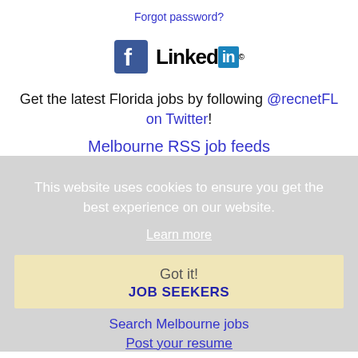Forgot password?
[Figure (logo): Facebook and LinkedIn social network logos side by side]
Get the latest Florida jobs by following @recnetFL on Twitter!
Melbourne RSS job feeds
This website uses cookies to ensure you get the best experience on our website.
Learn more
Got it!
JOB SEEKERS
Search Melbourne jobs
Post your resume